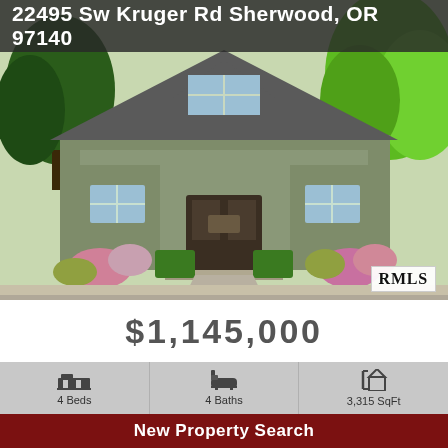22495 Sw Kruger Rd Sherwood, OR 97140
[Figure (photo): Exterior photo of a craftsman-style two-story home with gray-green siding, white trim, surrounded by manicured hedges, trees, and colorful landscaping on a gravel driveway. RMLS watermark visible in lower right corner.]
$1,145,000
4 Beds
4 Baths
3,315 SqFt
New Property Search